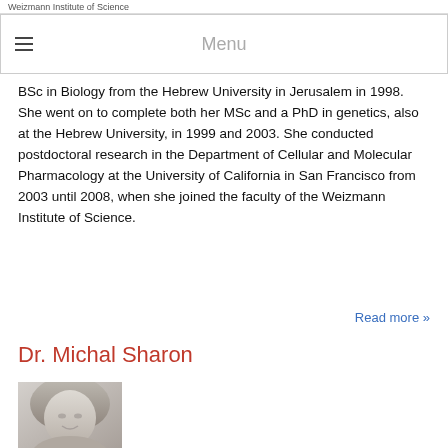Weizmann Institute of Science
Menu
BSc in Biology from the Hebrew University in Jerusalem in 1998. She went on to complete both her MSc and a PhD in genetics, also at the Hebrew University, in 1999 and 2003. She conducted postdoctoral research in the Department of Cellular and Molecular Pharmacology at the University of California in San Francisco from 2003 until 2008, when she joined the faculty of the Weizmann Institute of Science.
Read more »
Dr. Michal Sharon
[Figure (photo): Black and white portrait photo of Dr. Michal Sharon, a woman with long wavy blonde hair, smiling, wearing glasses]